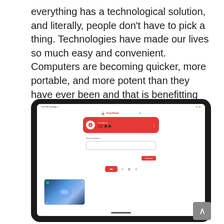everything has a technological solution, and literally, people don't have to pick a thing. Technologies have made our lives so much easy and convenient. Computers are becoming quicker, more portable, and more potent than they have ever been and that is benefitting the people who are using it on a regular basis.
[Figure (screenshot): Screenshot of an iPad tablet showing the AnyDesk remote desktop application interface. The app displays a red 'Your Address' card with an icon, address details and a menu. Below is a 'Remote Address' input field with a Connect button. A bottom toolbar shows several icons. A thumbnail preview of a blue abstract desktop is visible in the lower left of the screen.]